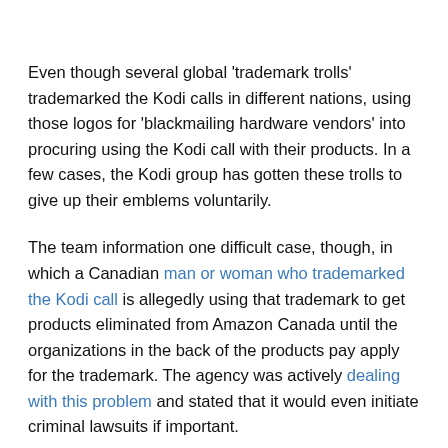Even though several global 'trademark trolls' trademarked the Kodi calls in different nations, using those logos for 'blackmailing hardware vendors' into procuring using the Kodi call with their products. In a few cases, the Kodi group has gotten these trolls to give up their emblems voluntarily.
The team information one difficult case, though, in which a Canadian man or woman who trademarked the Kodi call is allegedly using that trademark to get products eliminated from Amazon Canada until the organizations in the back of the products pay apply for the trademark. The agency was actively dealing with this problem and stated that it would even initiate criminal lawsuits if important.
In the blog put up, the Kodi team stated: